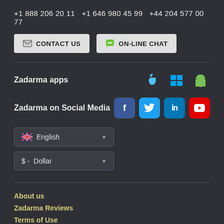+1 888 206 20 11   +1 646 980 45 99   +44 204 577 00 77
[Figure (infographic): Two buttons: CONTACT US (with envelope icon) and ON-LINE CHAT (with chat bubble icon)]
Zadarma apps
[Figure (infographic): Apple, Windows, and Android app icons]
Zadarma on Social Media
[Figure (infographic): Facebook, Twitter, LinkedIn, YouTube social media icons]
[Figure (infographic): English language dropdown with UK flag]
[Figure (infographic): Dollar currency dropdown]
About us
Zadarma Reviews
Terms of Use